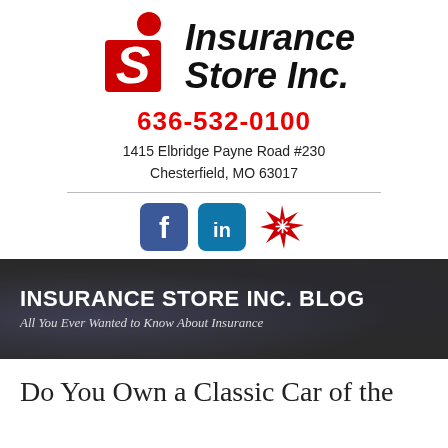[Figure (logo): Insurance Store Inc. logo with red circle and S shape icon, italic bold black text reading Insurance Store Inc.]
636-532-0100
1415 Elbridge Payne Road #230
Chesterfield, MO 63017
[Figure (infographic): Social media icons: Facebook (blue square with f), LinkedIn (blue square with in), Yelp (red burst with stylized figure)]
[Figure (screenshot): Blue hamburger menu button with three white horizontal lines]
INSURANCE STORE INC. BLOG
All You Ever Wanted to Know About Insurance
Do You Own a Classic Car of the